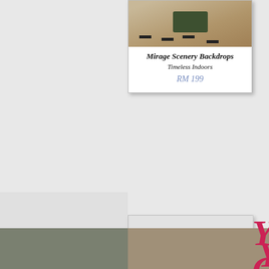[Figure (photo): Product photo of Mirage Scenery Backdrop (Timeless Indoors) showing an aerial/floor view]
Mirage Scenery Backdrops
Timeless Indoors
RM 199
[Figure (photo): Large grey placeholder image for second product]
Y
CU
DI
H
Mirage Pho
Custom
R
[Figure (photo): Two small product/photo thumbnails at the bottom of the page]